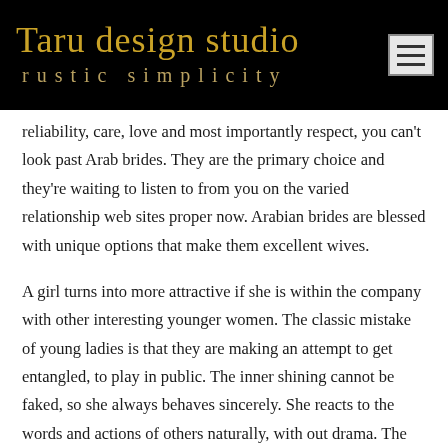Taru design studio
rustic  simplicity
reliability, care, love and most importantly respect, you can't look past Arab brides. They are the primary choice and they're waiting to listen to from you on the varied relationship web sites proper now. Arabian brides are blessed with unique options that make them excellent wives.
A girl turns into more attractive if she is within the company with other interesting younger women. The classic mistake of young ladies is that they are making an attempt to get entangled, to play in public. The inner shining cannot be faked, so she always behaves sincerely. She reacts to the words and actions of others naturally, with out drama. The Egyptian bride does not give consideration to what